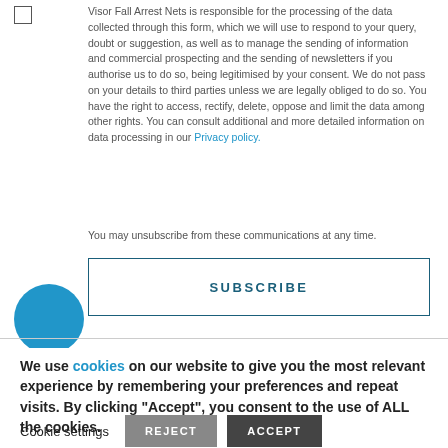Visor Fall Arrest Nets is responsible for the processing of the data collected through this form, which we will use to respond to your query, doubt or suggestion, as well as to manage the sending of information and commercial prospecting and the sending of newsletters if you authorise us to do so, being legitimised by your consent. We do not pass on your details to third parties unless we are legally obliged to do so. You have the right to access, rectify, delete, oppose and limit the data among other rights. You can consult additional and more detailed information on data processing in our Privacy policy.
You may unsubscribe from these communications at any time.
SUBSCRIBE
We use cookies on our website to give you the most relevant experience by remembering your preferences and repeat visits. By clicking "Accept", you consent to the use of ALL the cookies.
Cookie settings   REJECT   ACCEPT